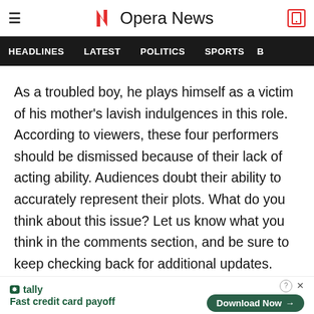Opera News
HEADLINES   LATEST   POLITICS   SPORTS
As a troubled boy, he plays himself as a victim of his mother's lavish indulgences in this role. According to viewers, these four performers should be dismissed because of their lack of acting ability. Audiences doubt their ability to accurately represent their plots. What do you think about this issue? Let us know what you think in the comments section, and be sure to keep checking back for additional updates.
Fast credit card payoff
Download Now